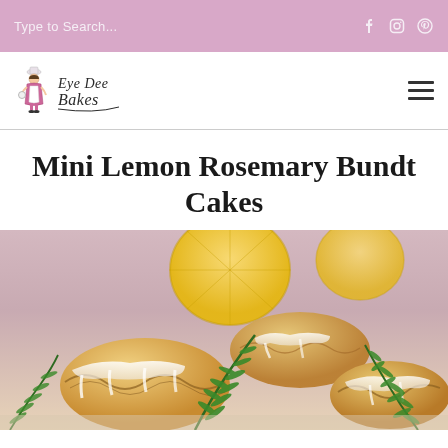Type to Search...
[Figure (logo): Eye Dee Bakes bakery logo with illustrated woman in baker's outfit and script text]
Mini Lemon Rosemary Bundt Cakes
[Figure (photo): Close-up photo of mini lemon rosemary bundt cakes with white glaze drizzle and fresh rosemary sprigs, with lemon slices in the blurred background]